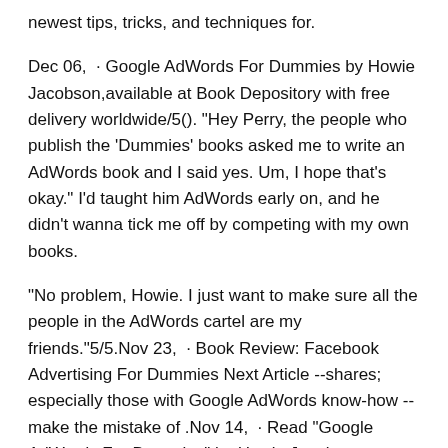newest tips, tricks, and techniques for.
Dec 06,  · Google AdWords For Dummies by Howie Jacobson,available at Book Depository with free delivery worldwide/5(). "Hey Perry, the people who publish the 'Dummies' books asked me to write an AdWords book and I said yes. Um, I hope that's okay." I'd taught him AdWords early on, and he didn't wanna tick me off by competing with my own books.
"No problem, Howie. I just want to make sure all the people in the AdWords cartel are my friends."5/5.Nov 23,  · Book Review: Facebook Advertising For Dummies Next Article --shares; especially those with Google AdWords know-how -- make the mistake of .Nov 14,  · Read "Google AdWords For Dummies" by Howie Jacobson available from Rakuten Kobo.
The fun and friendly guide on getting the most value out of your AdWords campaigns, now updated! Google AdWords is a uni Brand: Wiley.